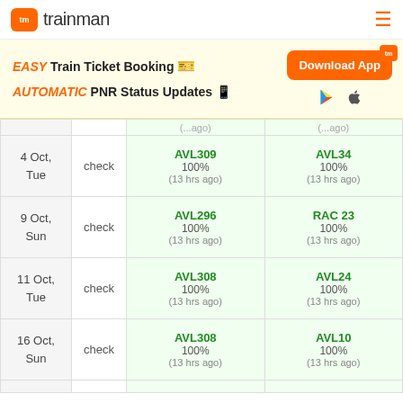trainman
[Figure (infographic): Trainman app promotion banner: EASY Train Ticket Booking, AUTOMATIC PNR Status Updates, Download App button, Play Store and App Store icons]
| Date | Check | Column 3 | Column 4 |
| --- | --- | --- | --- |
| 4 Oct, Tue | check | AVL309
100%
(13 hrs ago) | AVL34
100%
(13 hrs ago) |
| 9 Oct, Sun | check | AVL296
100%
(13 hrs ago) | RAC 23
100%
(13 hrs ago) |
| 11 Oct, Tue | check | AVL308
100%
(13 hrs ago) | AVL24
100%
(13 hrs ago) |
| 16 Oct, Sun | check | AVL308
100%
(13 hrs ago) | AVL10
100%
(13 hrs ago) |